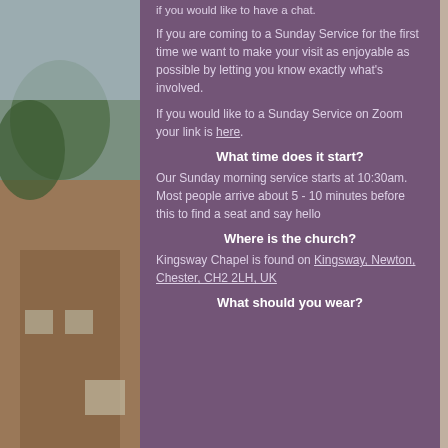if you would like to have a chat.
If you are coming to a Sunday Service for the first time we want to make your visit as enjoyable as possible by letting you know exactly what's involved.
If you would like to a Sunday Service on Zoom your link is here.
What time does it start?
Our Sunday morning service starts at 10:30am. Most people arrive about 5 - 10 minutes before this to find a seat and say hello
Where is the church?
Kingsway Chapel is found on Kingsway, Newton, Chester, CH2 2LH, UK
What should you wear?